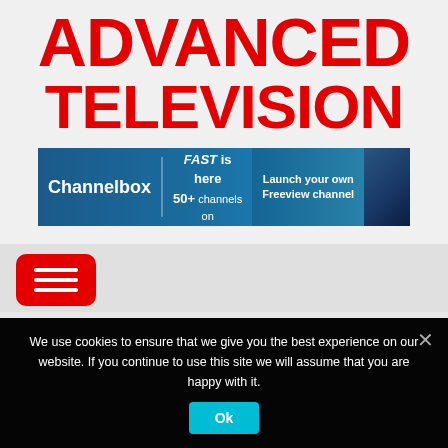ADVANCED TELEVISION
[Figure (screenshot): Channelbox banner advertisement: dark blue background with Channelbox logo on left, 'Freeview FAST is here 50+ channels on Freeview271' text in center, 'Launch your own Freeview channel' call-to-action on right, person photo on far right]
[Figure (illustration): Red rounded rectangle hamburger menu button with three white horizontal lines]
We use cookies to ensure that we give you the best experience on our website. If you continue to use this site we will assume that you are happy with it.
Ok